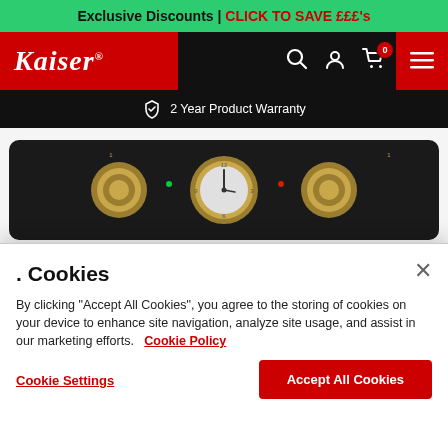Exclusive Discounts | CLICK TO SAVE £££'s
[Figure (logo): Kaiser brand logo in white italic script with registered trademark on red background]
2 Year Product Warranty
[Figure (photo): Kaiser oven control panel in black with gold knobs and analog clock, on dark background]
🍪 Cookies
By clicking "Accept All Cookies", you agree to the storing of cookies on your device to enhance site navigation, analyze site usage, and assist in our marketing efforts.   Cookie Policy
Cookie Settings
Accept All Cookies